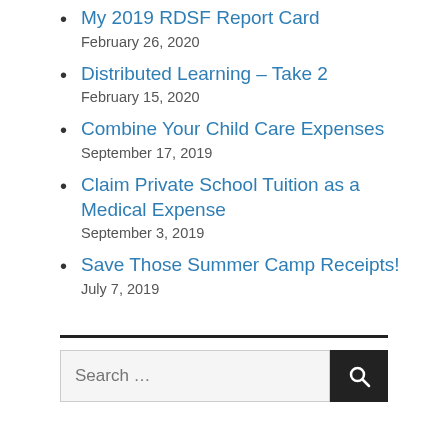My 2019 RDSF Report Card
February 26, 2020
Distributed Learning – Take 2
February 15, 2020
Combine Your Child Care Expenses
September 17, 2019
Claim Private School Tuition as a Medical Expense
September 3, 2019
Save Those Summer Camp Receipts!
July 7, 2019